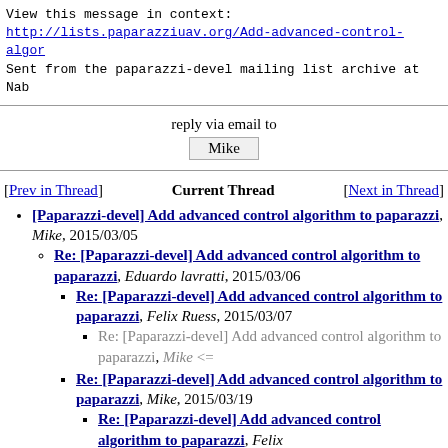View this message in context:
http://lists.paparazziuav.org/Add-advanced-control-algo...
Sent from the paparazzi-devel mailing list archive at Nab...
reply via email to
Mike
[Prev in Thread]   Current Thread   [Next in Thread]
[Paparazzi-devel] Add advanced control algorithm to paparazzi, Mike, 2015/03/05
Re: [Paparazzi-devel] Add advanced control algorithm to paparazzi, Eduardo lavratti, 2015/03/06
Re: [Paparazzi-devel] Add advanced control algorithm to paparazzi, Felix Ruess, 2015/03/07
Re: [Paparazzi-devel] Add advanced control algorithm to paparazzi, Mike <=
Re: [Paparazzi-devel] Add advanced control algorithm to paparazzi, Mike, 2015/03/19
Re: [Paparazzi-devel] Add advanced control algorithm to paparazzi, Felix